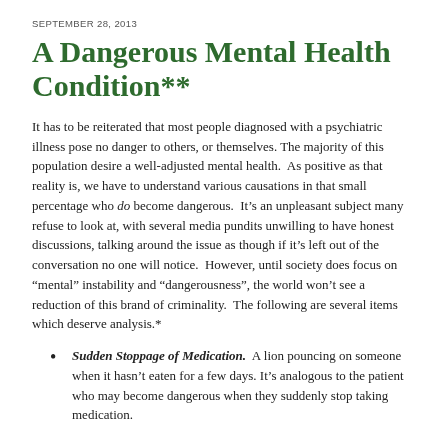SEPTEMBER 28, 2013
A Dangerous Mental Health Condition**
It has to be reiterated that most people diagnosed with a psychiatric illness pose no danger to others, or themselves. The majority of this population desire a well-adjusted mental health. As positive as that reality is, we have to understand various causations in that small percentage who do become dangerous. It’s an unpleasant subject many refuse to look at, with several media pundits unwilling to have honest discussions, talking around the issue as though if it’s left out of the conversation no one will notice. However, until society does focus on “mental” instability and “dangerousness”, the world won’t see a reduction of this brand of criminality. The following are several items which deserve analysis.*
Sudden Stoppage of Medication. A lion pouncing on someone when it hasn’t eaten for a few days. It’s analogous to the patient who may become dangerous when they suddenly stop taking medication.